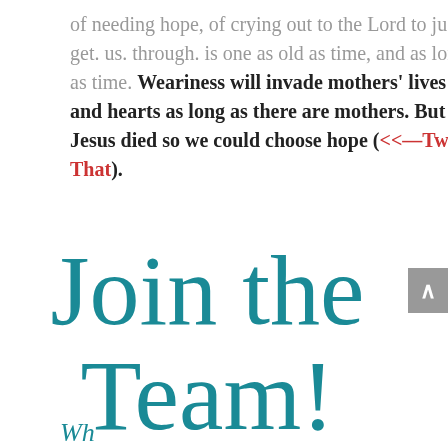of needing hope, of crying out to the Lord to just. get. us. through. is one as old as time, and as long as time. Weariness will invade mothers' lives and hearts as long as there are mothers. But Jesus died so we could choose hope (<<—Tweet That).
Join the Team!